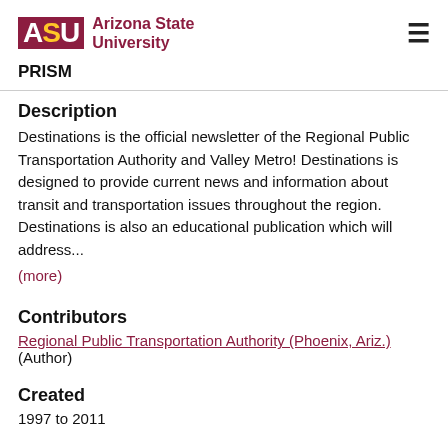ASU Arizona State University | PRISM
Description
Destinations is the official newsletter of the Regional Public Transportation Authority and Valley Metro! Destinations is designed to provide current news and information about transit and transportation issues throughout the region. Destinations is also an educational publication which will address...
(more)
Contributors
Regional Public Transportation Authority (Phoenix, Ariz.) (Author)
Created
1997 to 2011